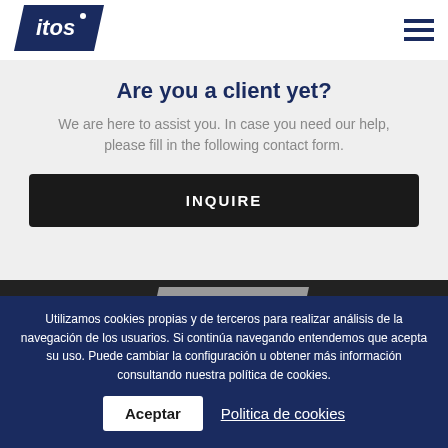[Figure (logo): itos logo in dark blue parallelogram shape, top left header]
[Figure (other): Hamburger menu icon — three horizontal dark navy lines]
Are you a client yet?
We are here to assist you. In case you need our help, please fill in the following contact form.
INQUIRE
[Figure (logo): itos logo in gray parallelogram shape, footer dark section]
Utilizamos cookies propias y de terceros para realizar análisis de la navegación de los usuarios. Si continúa navegando entendemos que acepta su uso. Puede cambiar la configuración u obtener más información consultando nuestra política de cookies.
Aceptar
Politica de cookies